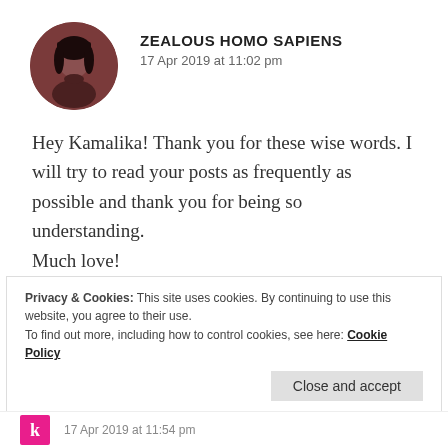[Figure (illustration): Circular avatar photo of a person with dark hair against a dark reddish-brown background]
ZEALOUS HOMO SAPIENS
17 Apr 2019 at 11:02 pm
Hey Kamalika! Thank you for these wise words. I will try to read your posts as frequently as possible and thank you for being so understanding.
Much love!
★ Liked by 1 person
Privacy & Cookies: This site uses cookies. By continuing to use this website, you agree to their use.
To find out more, including how to control cookies, see here: Cookie Policy
Close and accept
17 Apr 2019 at 11:54 pm